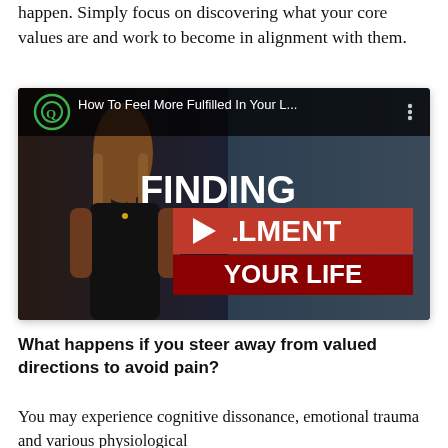happen. Simply focus on discovering what your core values are and work to become in alignment with them.
[Figure (screenshot): YouTube video thumbnail showing a woman in a black top with text 'How To Feel More Fulfilled In Your L...' in the video player bar, and overlay text 'FINDING FULFILLMENT YOUR LIFE' with a YouTube play button logo in red.]
What happens if you steer away from valued directions to avoid pain?
You may experience cognitive dissonance, emotional trauma and various physiological